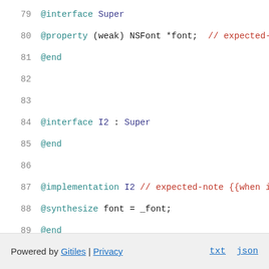[Figure (screenshot): Code viewer showing Objective-C source lines 79-95 with syntax highlighting. Line numbers in gray on left, keywords in teal, identifiers in dark blue, comments in red.]
Powered by Gitiles | Privacy    txt  json